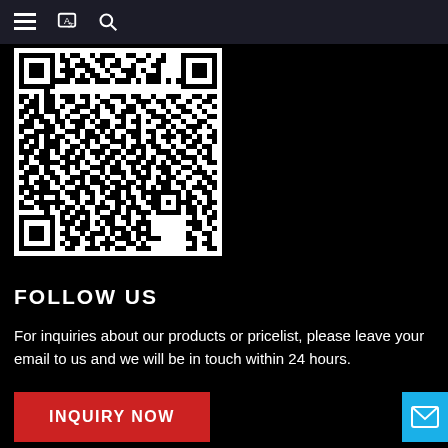[Figure (other): QR code image in black and white]
FOLLOW US
For inquiries about our products or pricelist, please leave your email to us and we will be in touch within 24 hours.
[Figure (other): INQUIRY NOW red button]
[Figure (other): Mail/envelope icon blue button]